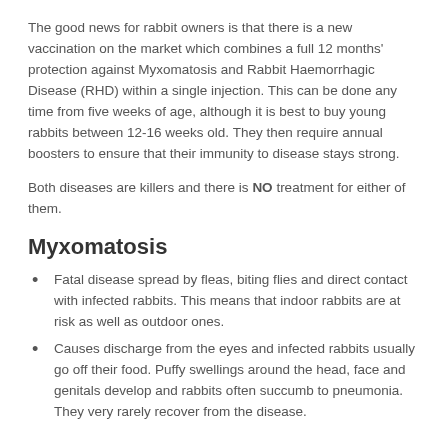The good news for rabbit owners is that there is a new vaccination on the market which combines a full 12 months' protection against Myxomatosis and Rabbit Haemorrhagic Disease (RHD) within a single injection. This can be done any time from five weeks of age, although it is best to buy young rabbits between 12-16 weeks old. They then require annual boosters to ensure that their immunity to disease stays strong.
Both diseases are killers and there is NO treatment for either of them.
Myxomatosis
Fatal disease spread by fleas, biting flies and direct contact with infected rabbits. This means that indoor rabbits are at risk as well as outdoor ones.
Causes discharge from the eyes and infected rabbits usually go off their food. Puffy swellings around the head, face and genitals develop and rabbits often succumb to pneumonia. They very rarely recover from the disease.